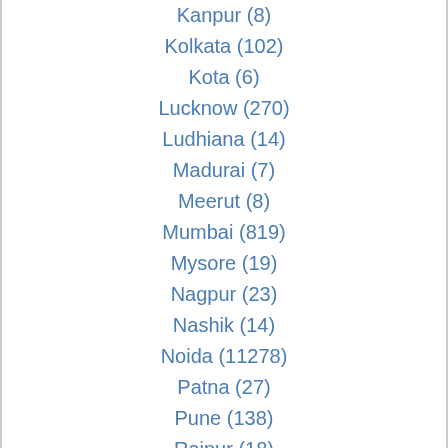Kanpur (8)
Kolkata (102)
Kota (6)
Lucknow (270)
Ludhiana (14)
Madurai (7)
Meerut (8)
Mumbai (819)
Mysore (19)
Nagpur (23)
Nashik (14)
Noida (11278)
Patna (27)
Pune (138)
Raipur (18)
Rajkot (12)
Ranchi (15)
Salem (82)
Solapur (37)
Srinagar (10)